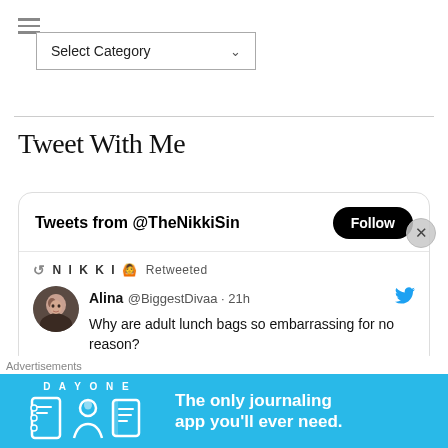[Figure (screenshot): Hamburger menu icon (three horizontal lines)]
Select Category
Tweet With Me
[Figure (screenshot): Twitter widget showing Tweets from @TheNikkiSin with a Follow button. NIKKI retweeted Alina @BiggestDivaa 21h: Why are adult lunch bags so embarrassing for no reason?]
Advertisements
[Figure (infographic): DAY ONE app advertisement banner: The only journaling app you'll ever need.]